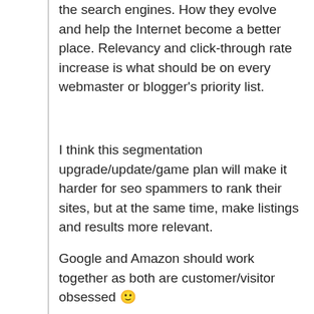the search engines. How they evolve and help the Internet become a better place. Relevancy and click-through rate increase is what should be on every webmaster or blogger's priority list.
I think this segmentation upgrade/update/game plan will make it harder for seo spammers to rank their sites, but at the same time, make listings and results more relevant.
Google and Amazon should work together as both are customer/visitor obsessed 🙂